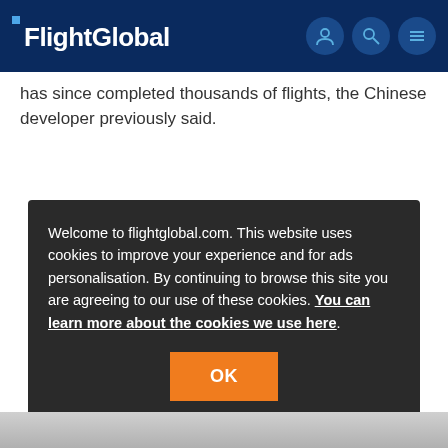FlightGlobal
has since completed thousands of flights, the Chinese developer previously said.
Welcome to flightglobal.com. This website uses cookies to improve your experience and for ads personalisation. By continuing to browse this site you are agreeing to our use of these cookies. You can learn more about the cookies we use here.
[Figure (other): Bottom image strip showing partial aircraft or sky photo in grayscale]